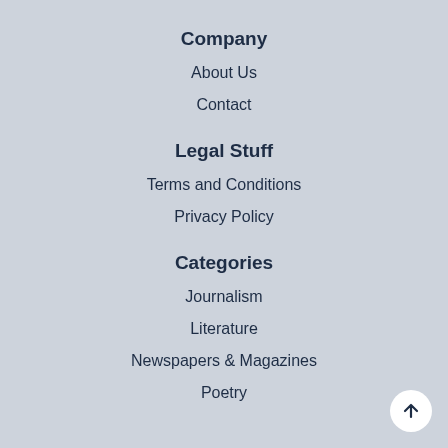Company
About Us
Contact
Legal Stuff
Terms and Conditions
Privacy Policy
Categories
Journalism
Literature
Newspapers & Magazines
Poetry
[Figure (illustration): Back to top button — white circle with upward arrow]